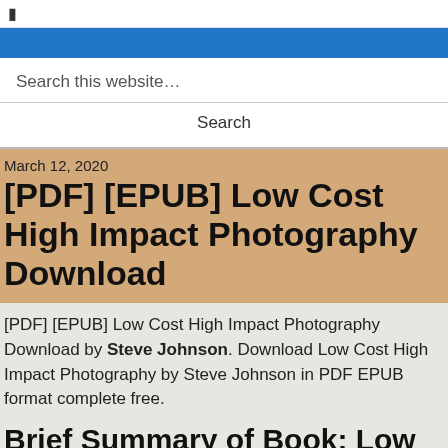❙
Search this website…
Search
March 12, 2020
[PDF] [EPUB] Low Cost High Impact Photography Download
[PDF] [EPUB] Low Cost High Impact Photography Download by Steve Johnson. Download Low Cost High Impact Photography by Steve Johnson in PDF EPUB format complete free.
Brief Summary of Book: Low Cost